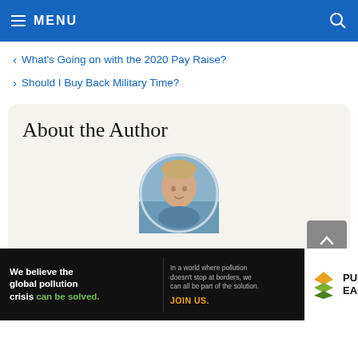MENU
What's Going on with the 2020 Pay Raise?
Should I Buy Back Military Time?
About the Author
[Figure (photo): Circular headshot of a man with short blond hair wearing a blue collared shirt, with a lake/water background.]
We believe the global pollution crisis can be solved. In a world where pollution doesn't stop at borders, we can all be part of the solution. JOIN US. PURE EARTH